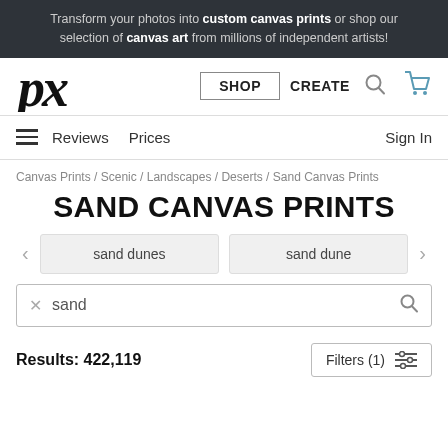Transform your photos into custom canvas prints or shop our selection of canvas art from millions of independent artists!
[Figure (logo): px logo in cursive black script]
SHOP  CREATE
Reviews  Prices  Sign In
Canvas Prints / Scenic / Landscapes / Deserts / Sand Canvas Prints
SAND CANVAS PRINTS
sand dunes
sand dune
sand
Results: 422,119
Filters (1)